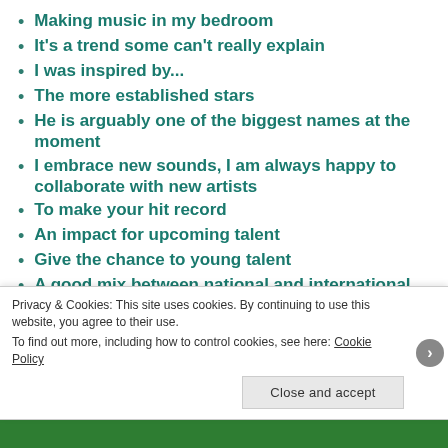Making music in my bedroom
It's a trend some can't really explain
I was inspired by...
The more established stars
He is arguably one of the biggest names at the moment
I embrace new sounds, I am always happy to collaborate with new artists
To make your hit record
An impact for upcoming talent
Give the chance to young talent
A good mix between national and international artists